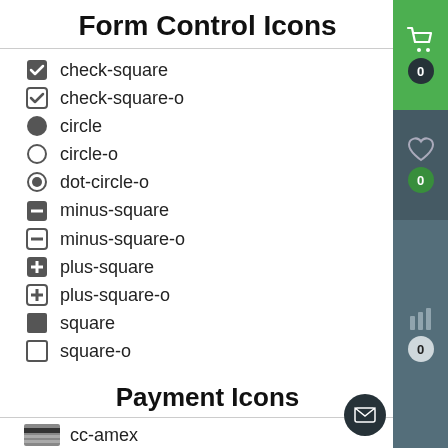Form Control Icons
check-square
check-square-o
circle
circle-o
dot-circle-o
minus-square
minus-square-o
plus-square
plus-square-o
square
square-o
Payment Icons
cc-amex